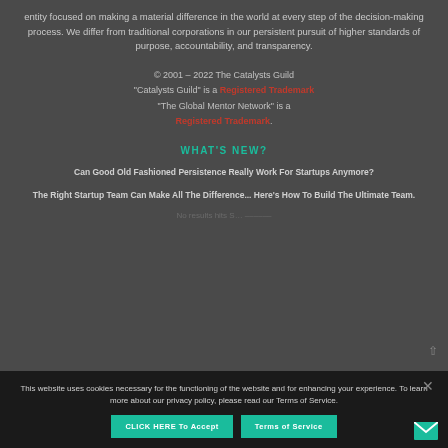entity focused on making a material difference in the world at every step of the decision-making process. We differ from traditional corporations in our persistent pursuit of higher standards of purpose, accountability, and transparency.
© 2001 – 2022 The Catalysts Guild
"Catalysts Guild" is a Registered Trademark
"The Global Mentor Network" is a
Registered Trademark.
WHAT'S NEW?
Can Good Old Fashioned Persistence Really Work For Startups Anymore?
The Right Startup Team Can Make All The Difference... Here's How To Build The Ultimate Team.
This website uses cookies necessary for the functioning of the website and for enhancing your experience. To learn more about our privacy policy, please read our Terms of Service.